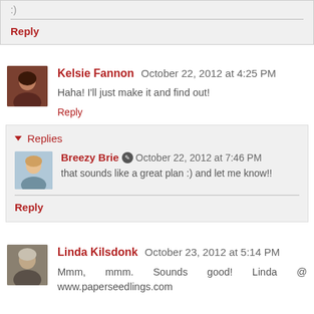:)
Reply
Kelsie Fannon  October 22, 2012 at 4:25 PM
Haha! I'll just make it and find out!
Reply
Replies
Breezy Brie  October 22, 2012 at 7:46 PM
that sounds like a great plan :) and let me know!!
Reply
Linda Kilsdonk  October 23, 2012 at 5:14 PM
Mmm, mmm. Sounds good! Linda @ www.paperseedlings.com